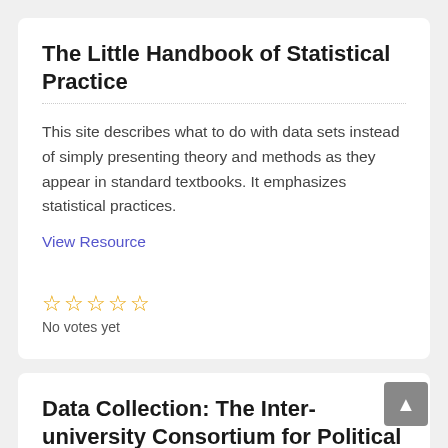The Little Handbook of Statistical Practice
This site describes what to do with data sets instead of simply presenting theory and methods as they appear in standard textbooks. It emphasizes statistical practices.
View Resource
No votes yet
Data Collection: The Inter-university Consortium for Political and Social Research (ICPSR)